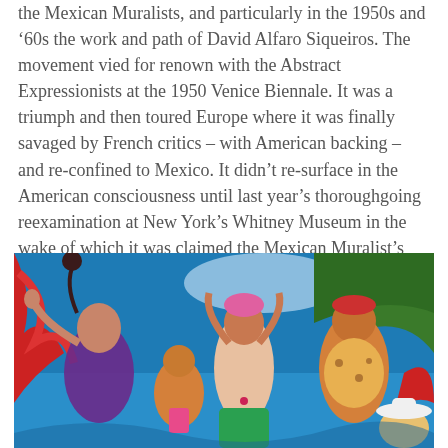the Mexican Muralists, and particularly in the 1950s and '60s the work and path of David Alfaro Siqueiros. The movement vied for renown with the Abstract Expressionists at the 1950 Venice Biennale. It was a triumph and then toured Europe where it was finally savaged by French critics – with American backing – and re-confined to Mexico. It didn't re-surface in the American consciousness until last year's thoroughgoing reexamination at New York's Whitney Museum in the wake of which it was claimed the Mexican Muralist's were more important as influences on American modernism than French artists.
[Figure (illustration): A colorful figurative painting depicting several women of different ethnicities dancing or posing together. Vivid blues, reds, pinks, and greens dominate the background. The figures are rendered in an expressive, mural-like style reminiscent of Mexican Muralism.]